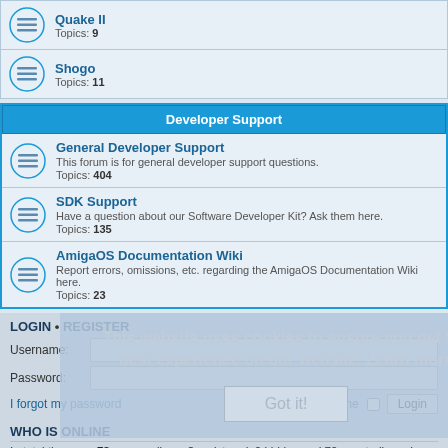Quake II - Topics: 9
Shogo - Topics: 11
Developer Support
General Developer Support - This forum is for general developer support questions. Topics: 404
SDK Support - Have a question about our Software Developer Kit? Ask them here. Topics: 135
AmigaOS Documentation Wiki - Report errors, omissions, etc. regarding the AmigaOS Documentation Wiki here. Topics: 23
LOGIN • REGISTER
Username:
Password:
I forgot my password
Remember me
This website uses cookies to ensure you get the best experience on our website. Learn more
Got it!
WHO IS ONLINE
In total there are 73 users online :: 3 registered, 0 hidden and 70 guests (based on users active over the past 5 minutes)